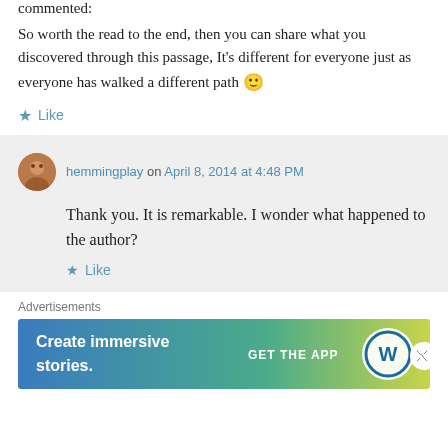commented:
So worth the read to the end, then you can share what you discovered through this passage, It's different for everyone just as everyone has walked a different path 🙂
Like
hemmingplay on April 8, 2014 at 4:48 PM
Thank you. It is remarkable. I wonder what happened to the author?
Like
Advertisements
[Figure (other): WordPress advertisement banner: 'Create immersive stories. GET THE APP' with WordPress logo on gradient blue-green background]